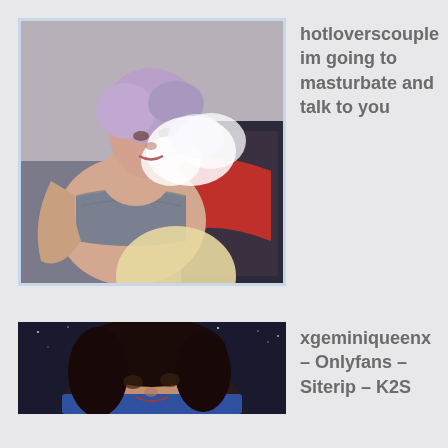[Figure (photo): A person with short purple/lavender hair reclining on a couch, exhaling vapor smoke, wearing a grey lace bralette. Red clothing visible on the couch beside them.]
hotloverscouple im going to masturbate and talk to you
[Figure (photo): A person with dark hair lying down, seen from above, dark blue/starry background.]
xgeminiqueenx – Onlyfans – Siterip – K2S